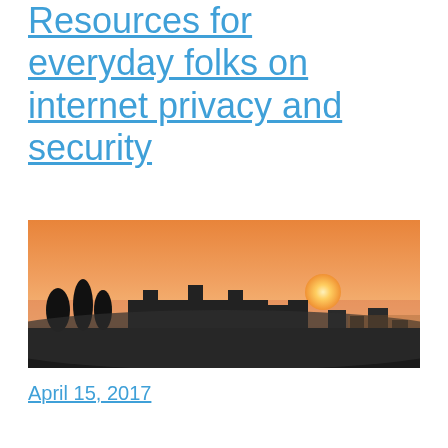Resources for everyday folks on internet privacy and security
[Figure (photo): Photograph of a sunset over a cityscape with a medieval fortress silhouetted in the foreground, orange and pink sky with the sun setting on the horizon.]
April 15, 2017